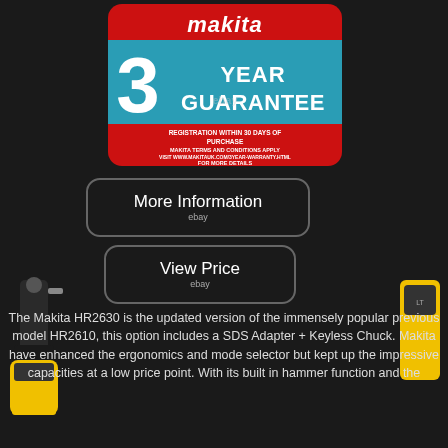[Figure (logo): Makita 3 Year Guarantee badge with red Makita logo at top, teal background with large '3 YEAR GUARANTEE' text, red bottom band with text: REGISTRATION WITHIN 30 DAYS OF PURCHASE, MAKITA TERMS AND CONDITIONS APPLY, VISIT WWW.MAKITAUK.COM/3YEAR-WARRANTY.HTML FOR MORE DETAILS. eBay watermark visible.]
[Figure (photo): Yellow and black cordless drill/impact driver on left side of page]
[Figure (photo): Yellow power tool/battery pack partially visible on right side of page]
More Information
ebay
View Price
ebay
The Makita HR2630 is the updated version of the immensely popular previous model HR2610, this option includes a SDS Adapter + Keyless Chuck. Makita have enhanced the ergonomics and mode selector but kept up the impressive capacities at a low price point. With its built in hammer function and the